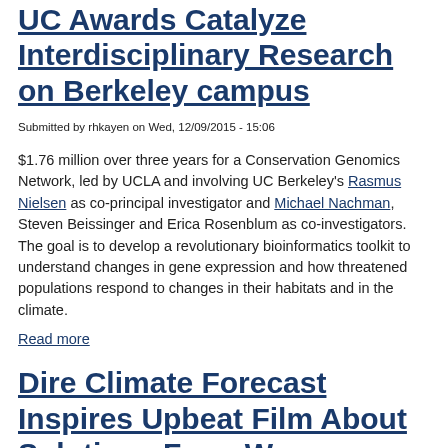UC Awards Catalyze Interdisciplinary Research on Berkeley campus
Submitted by rhkayen on Wed, 12/09/2015 - 15:06
$1.76 million over three years for a Conservation Genomics Network, led by UCLA and involving UC Berkeley's Rasmus Nielsen as co-principal investigator and Michael Nachman, Steven Beissinger and Erica Rosenblum as co-investigators. The goal is to develop a revolutionary bioinformatics toolkit to understand changes in gene expression and how threatened populations respond to changes in their habitats and in the climate.
Read more
Dire Climate Forecast Inspires Upbeat Film About Solutions For a Warmer